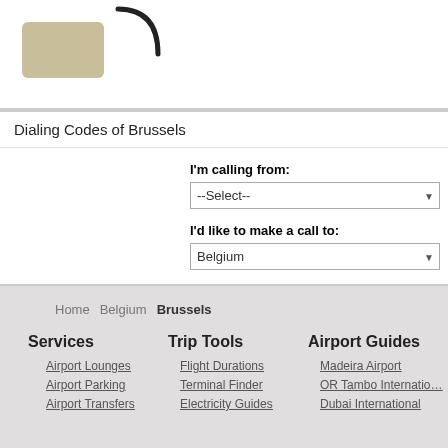[Figure (illustration): Partial view of a phone/handset illustration with a beige/tan colored device and a black cord]
Dialing Codes of Brussels
I'm calling from:
--Select--
I'd like to make a call to:
Belgium
Home  Belgium  Brussels
Services
Trip Tools
Airport Guides
Airport Lounges
Airport Parking
Airport Transfers
Flight Durations
Terminal Finder
Electricity Guides
Madeira Airport
OR Tambo International
Dubai International